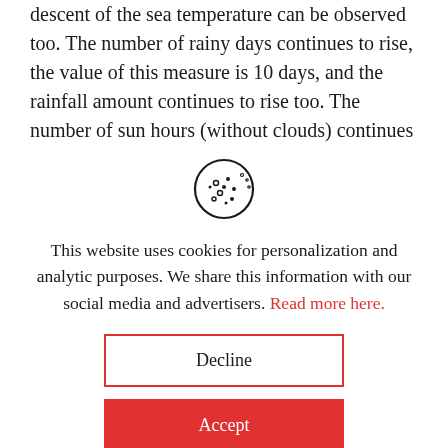descent of the sea temperature can be observed too. The number of rainy days continues to rise, the value of this measure is 10 days, and the rainfall amount continues to rise too. The number of sun hours (without clouds) continues to descent
[Figure (illustration): Cookie icon — a circle with dots representing a cookie/biscuit]
This website uses cookies for personalization and analytic purposes. We share this information with our social media and advertisers. Read more here.
Decline
Accept